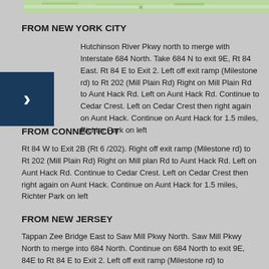[Figure (map): Partial map strip at top of page]
FROM NEW YORK CITY
Hutchinson River Pkwy north to merge with Interstate 684 North.  Take 684 N to exit 9E, Rt 84 East.  Rt 84 E to Exit 2.  Left off exit ramp (Milestone rd) to Rt 202 (Mill Plain Rd) Right on Mill Plain Rd to Aunt Hack Rd.  Left on Aunt Hack Rd.  Continue to Cedar Crest.  Left on Cedar Crest then right again on Aunt Hack.  Continue on Aunt Hack for 1.5 miles, Richter Park on left
FROM CONNECTICUT
Rt 84 W to Exit 2B (Rt 6 /202).  Right off exit ramp (Milestone rd) to Rt 202 (Mill Plain Rd) Right on Mill plan Rd to Aunt Hack Rd.  Left on Aunt Hack Rd.  Continue to Cedar Crest.  Left on Cedar Crest then right again on Aunt Hack.  Continue on Aunt Hack for 1.5 miles, Richter Park on left
FROM NEW JERSEY
Tappan Zee Bridge East to Saw Mill Pkwy North.  Saw Mill Pkwy North to merge into 684 North.  Continue on 684 North to exit 9E, 84E to Rt 84 E to Exit 2.  Left off exit ramp (Milestone rd) to...